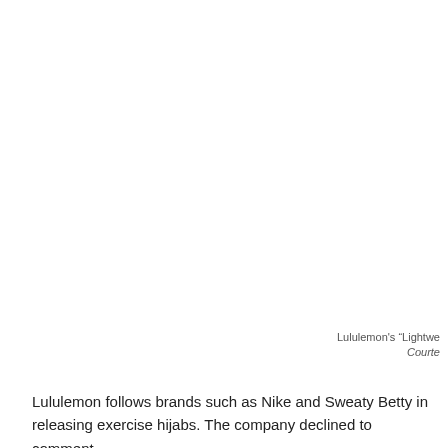[Figure (photo): Photo of Lululemon product — image content cut off at page edge]
Lululemon's “Lightwe
Courte
Lululemon follows brands such as Nike and Sweaty Betty in releasing exercise hijabs. The company declined to comment